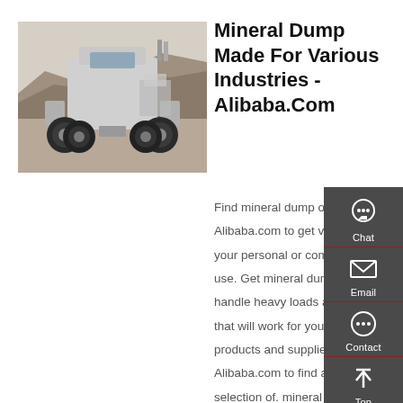[Figure (photo): Rear view of a white heavy-duty dump truck in a quarry/industrial setting]
Mineral Dump Made For Various Industries - Alibaba.Com
Find mineral dump on Alibaba.com to get vehicles for your personal or commercial use. Get mineral dump that handle heavy loads at prices that will work for you. About products and suppliers: Shop on Alibaba.com to find a wide selection of. mineral dump to choose from. to choose from.